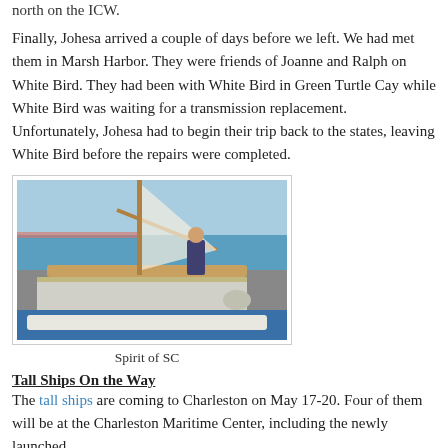north on the ICW.
Finally, Johesa arrived a couple of days before we left. We had met them in Marsh Harbor. They were friends of Joanne and Ralph on White Bird. They had been with White Bird in Green Turtle Cay while White Bird was waiting for a transmission replacement. Unfortunately, Johesa had to begin their trip back to the states, leaving White Bird before the repairs were completed.
[Figure (photo): A photograph of a tall ship named Spirit of SC on the water, showing the stern of the boat with wooden trim, a man standing on deck, and blue water and a pier visible in the background.]
Spirit of SC
Tall Ships On the Way
The tall ships are coming to Charleston on May 17-20. Four of them will be at the Charleston Maritime Center, including the newly launched